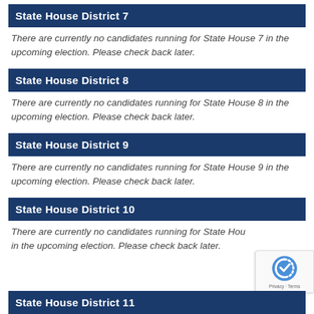State House District 7
There are currently no candidates running for State House 7 in the upcoming election. Please check back later.
State House District 8
There are currently no candidates running for State House 8 in the upcoming election. Please check back later.
State House District 9
There are currently no candidates running for State House 9 in the upcoming election. Please check back later.
State House District 10
There are currently no candidates running for State House 10 in the upcoming election. Please check back later.
State House District 11